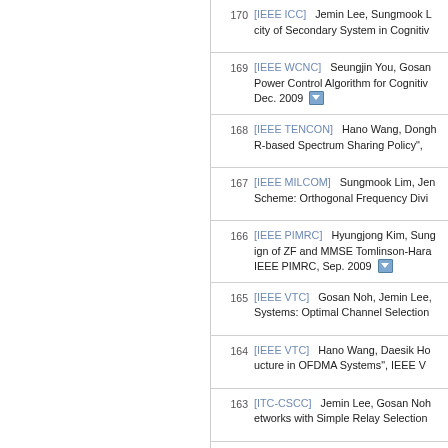170 [IEEE ICC] Jemin Lee, Sungmook L... city of Secondary System in Cognitiv...
169 [IEEE WCNC] Seungjin You, Gosan... Power Control Algorithm for Cognitiv... Dec. 2009
168 [IEEE TENCON] Hano Wang, Dongh... R-based Spectrum Sharing Policy",
167 [IEEE MILCOM] Sungmook Lim, Jen... Scheme: Orthogonal Frequency Divi...
166 [IEEE PIMRC] Hyungjong Kim, Sung... ign of ZF and MMSE Tomlinson-Hara... IEEE PIMRC, Sep. 2009
165 [IEEE VTC] Gosan Noh, Jemin Lee,... Systems: Optimal Channel Selection...
164 [IEEE VTC] Hano Wang, Daesik Ho... ucture in OFDMA Systems", IEEE V...
163 [ITC-CSCC] Jemin Lee, Gosan Noh... etworks with Simple Relay Selection...
162 [IEEE WCNC] Hyunkee Min, Jihyun... g, "New Pilot Designs and ICI Mitig... High Speed Vehicular Channels", IE...